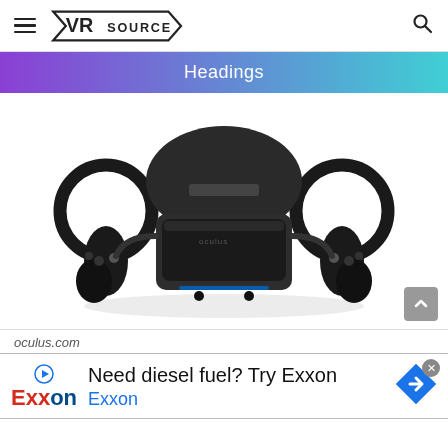VR SOURCE
Headings
[Figure (photo): Oculus Rift S VR headset with two Touch controllers, product photo on white background]
oculus.com
Need diesel fuel? Try Exxon Exxon